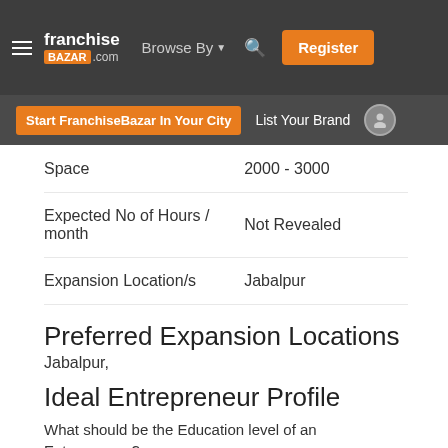franchise BAZAR .com | Browse By | Register
Start FranchiseBazar In Your City | List Your Brand
| Field | Value |
| --- | --- |
| Space | 2000 - 3000 |
| Expected No of Hours / month | Not Revealed |
| Expansion Location/s | Jabalpur |
Preferred Expansion Locations
Jabalpur,
Ideal Entrepreneur Profile
What should be the Education level of an Entrepreneur? : Doctoral Degree - Ph.D., J.D., M.D. etc..
What should be the skill set of an Entrepreneur? : Should be a good listener
Should be good at customer service
What is that the business seek from an Entrepreneur? : A